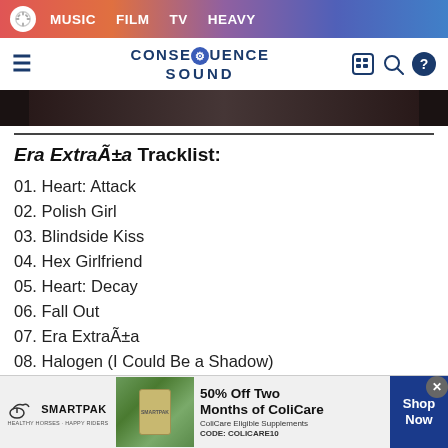MUSIC  FILM  TV  HEAVY
CONSEQUENCE SOUND
[Figure (photo): Dark hero image strip showing musical instruments]
Era ExtraÃ±a Tracklist:
01. Heart: Attack
02. Polish Girl
03. Blindside Kiss
04. Hex Girlfriend
05. Heart: Decay
06. Fall Out
07. Era ExtraÃ±a
08. Halogen (I Could Be a Shadow)
[Figure (other): SmartPak advertisement: 50% Off Two Months of ColiCare, ColiCare Eligible Supplements, CODE: COLICARE10, Shop Now]